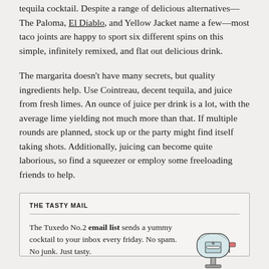tequila cocktail. Despite a range of delicious alternatives—The Paloma, El Diablo, and Yellow Jacket name a few—most taco joints are happy to sport six different spins on this simple, infinitely remixed, and flat out delicious drink.
The margarita doesn't have many secrets, but quality ingredients help. Use Cointreau, decent tequila, and juice from fresh limes. An ounce of juice per drink is a lot, with the average lime yielding not much more than that. If multiple rounds are planned, stock up or the party might find itself taking shots. Additionally, juicing can become quite laborious, so find a squeezer or employ some freeloading friends to help.
THE TASTY MAIL
The Tuxedo No.2 email list sends a yummy cocktail to your inbox every friday. No spam. No junk. Just tasty.
[Figure (illustration): Sketch illustration of a mailbox with a flag on the right side and a mail slot on the front door panel, mounted on a post with a base.]